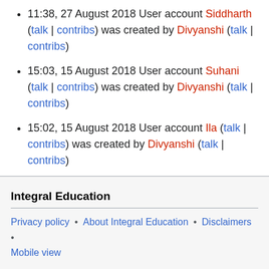11:38, 27 August 2018 User account Siddharth (talk | contribs) was created by Divyanshi (talk | contribs)
15:03, 15 August 2018 User account Suhani (talk | contribs) was created by Divyanshi (talk | contribs)
15:02, 15 August 2018 User account Ila (talk | contribs) was created by Divyanshi (talk | contribs)
(newest | oldest) View (newer 50 | older 50) (20 | 50 | 100 | 250 | 500)
Integral Education
Privacy policy • About Integral Education • Disclaimers • Mobile view